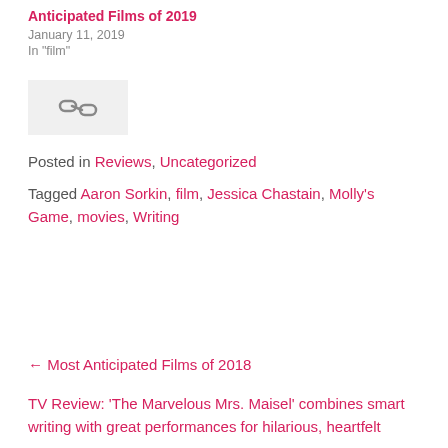Anticipated Films of 2019
January 11, 2019
In "film"
[Figure (other): Share/link icon button in a light grey box]
Posted in Reviews, Uncategorized
Tagged Aaron Sorkin, film, Jessica Chastain, Molly's Game, movies, Writing
← Most Anticipated Films of 2018
TV Review: 'The Marvelous Mrs. Maisel' combines smart writing with great performances for hilarious, heartfelt